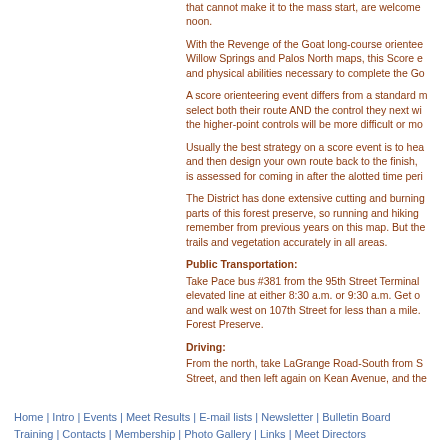that cannot make it to the mass start, are welcome noon.
With the Revenge of the Goat long-course orientee Willow Springs and Palos North maps, this Score e and physical abilities necessary to complete the Go
A score orienteering event differs from a standard m select both their route AND the control they next wi the higher-point controls will be more difficult or mo
Usually the best strategy on a score event is to hea and then design your own route back to the finish, is assessed for coming in after the alotted time peri
The District has done extensive cutting and burning parts of this forest preserve, so running and hiking remember from previous years on this map. But the trails and vegetation accurately in all areas.
Public Transportation:
Take Pace bus #381 from the 95th Street Terminal elevated line at either 8:30 a.m. or 9:30 a.m. Get o and walk west on 107th Street for less than a mile. Forest Preserve.
Driving:
From the north, take LaGrange Road-South from S Street, and then left again on Kean Avenue, and the
Home | Intro | Events | Meet Results | E-mail lists | Newsletter | Bulletin Board Training | Contacts | Membership | Photo Gallery | Links | Meet Directors